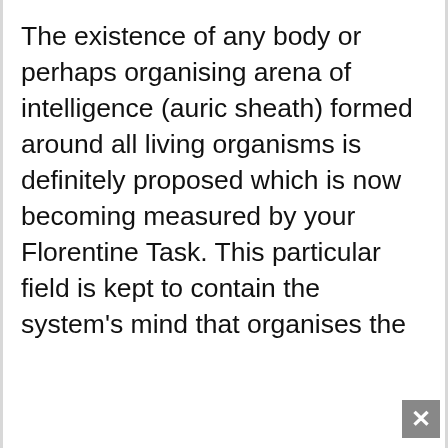The existence of any body or perhaps organising arena of intelligence (auric sheath) formed around all living organisms is definitely proposed which is now becoming measured by your Florentine Task. This particular field is kept to contain the system's mind that organises the
We use cookies on our website to give you the most relevant experience by remembering your preferences and repeat visits. By clicking “Accept”, you consent to the use of all cookies.
Accept
mind, acting being a detector on this information, convey with the mobile phone systems from the body, resulting in an information circulation to travel around the harmonic frequency degree. Each phrase--